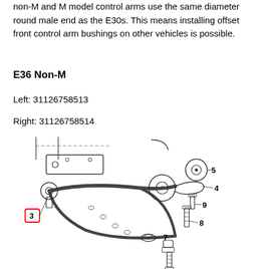non-M and M model control arms use the same diameter round male end as the E30s. This means installing offset front control arm bushings on other vehicles is possible.
E36 Non-M
Left: 31126758513
Right: 31126758514
[Figure (engineering-diagram): Exploded engineering diagram of an E36 front control arm assembly, with numbered parts including the control arm (3 in red box), bushing (4, 5), bolts (8, 9), and a cap/washer (7).]